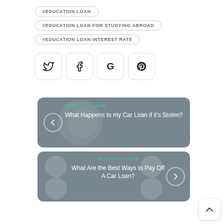#EDUCATION LOAN
#EDUCATION LOAN FOR STUDYING ABROAD
#EDUCATION LOAN INTEREST RATE
[Figure (other): Social share buttons: Twitter, Facebook, Google, Pinterest]
[Figure (other): Navigation card (previous): PERSONAL LOAN category label, title 'What Happens to my Car Loan if it's Stolen?' with left arrow button]
[Figure (other): Navigation card (next): PERSONAL LOAN category label, title 'What Are the Best Ways to Pay Off A Car Loan?' with right arrow button]